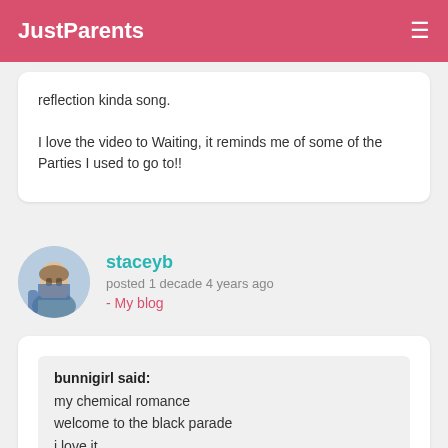JustParents
reflection kinda song.

I love the video to Waiting, it reminds me of some of the Parties I used to go to!!
staceyb
posted 1 decade 4 years ago
- My blog
bunnigirl said:
my chemical romance
welcome to the black parade
i love it
xxx 😀